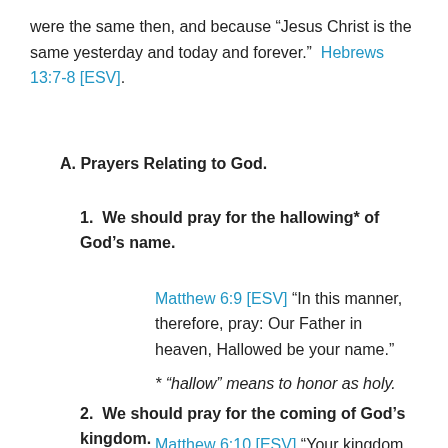were the same then, and because “Jesus Christ is the same yesterday and today and forever.” Hebrews 13:7-8 [ESV].
A. Prayers Relating to God.
1. We should pray for the hallowing* of God’s name.
Matthew 6:9 [ESV] “In this manner, therefore, pray: Our Father in heaven, Hallowed be your name.”
* “hallow” means to honor as holy.
2. We should pray for the coming of God’s kingdom.
Matthew 6:10 [ESV] “Your kingdom come...”